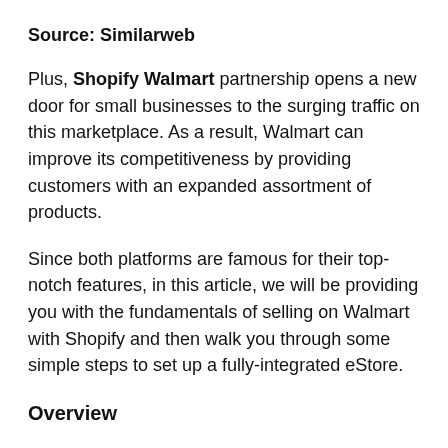Source: Similarweb
Plus, Shopify Walmart partnership opens a new door for small businesses to the surging traffic on this marketplace. As a result, Walmart can improve its competitiveness by providing customers with an expanded assortment of products.
Since both platforms are famous for their top-notch features, in this article, we will be providing you with the fundamentals of selling on Walmart with Shopify and then walk you through some simple steps to set up a fully-integrated eStore.
Overview
Shopify is one of the largest hosted cart solutions that